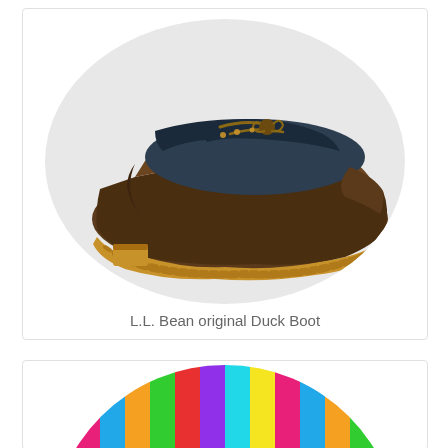[Figure (photo): L.L. Bean original Duck Boot — a low-cut moccasin-style shoe with dark navy fabric upper, brown leather trim with lace bow, brown rubber lower shell, and tan/yellow chunky rubber outsole, displayed on a light gray circular background.]
L.L. Bean original Duck Boot
[Figure (photo): Partial view of a circular item with colorful vertical stripes in yellow, pink, blue, orange, green, red, purple, cyan colors — only the top portion is visible at the bottom of the page.]